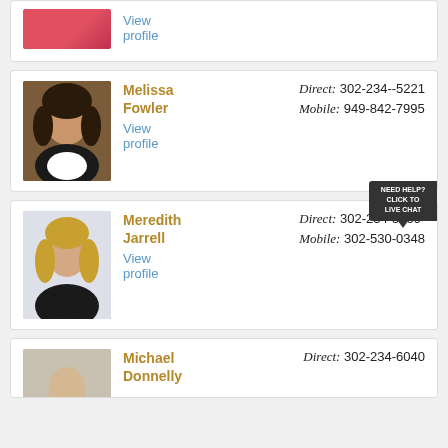[Figure (photo): Partial view of a person in a red/pink top at top of page]
View profile
[Figure (photo): Professional headshot of Melissa Fowler, woman with curly dark hair, wearing dark blazer]
Melissa Fowler
View profile
Direct: 302-234--5221
Mobile: 949-842-7995
[Figure (photo): Professional headshot of Meredith Jarrell, woman with blonde hair]
Meredith Jarrell
View profile
Direct: 302-234-5209
Mobile: 302-530-0348
[Figure (photo): Partial headshot of Michael Donnelly, man]
Michael Donnelly
Direct: 302-234-6040